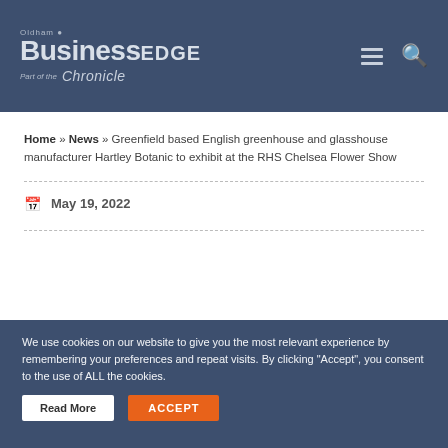Oldham Business EDGE – Part of the Chronicle
Home » News » Greenfield based English greenhouse and glasshouse manufacturer Hartley Botanic to exhibit at the RHS Chelsea Flower Show
May 19, 2022
We use cookies on our website to give you the most relevant experience by remembering your preferences and repeat visits. By clicking "Accept", you consent to the use of ALL the cookies.